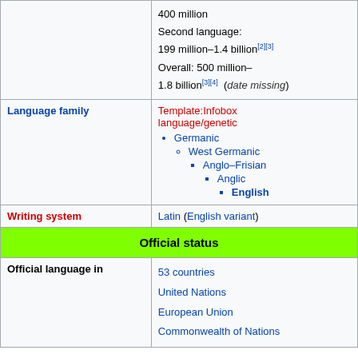|  | 400 million
Second language:
199 million–1.4 billion[2][3]
Overall: 500 million–1.8 billion[3][4] (date missing) |
| Language family | Template:Infobox language/genetic
• Germanic
  ◦ West Germanic
    ▪ Anglo–Frisian
      ▪ Anglic
        ▪ English |
| Writing system | Latin (English variant) |
| Official status |  |
| Official language in | 53 countries
United Nations
European Union
Commonwealth of Nations |